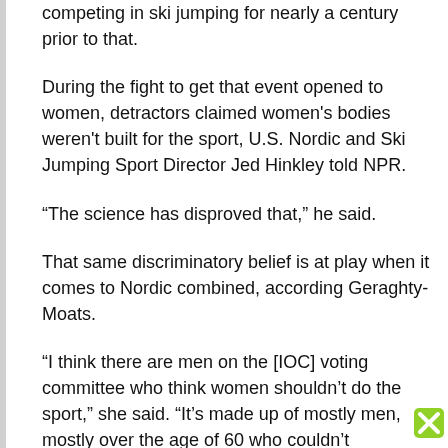competing in ski jumping for nearly a century prior to that.
During the fight to get that event opened to women, detractors claimed women's bodies weren't built for the sport, U.S. Nordic and Ski Jumping Sport Director Jed Hinkley told NPR.
“The science has disproved that,” he said.
That same discriminatory belief is at play when it comes to Nordic combined, according Geraghty-Moats.
“I think there are men on the [IOC] voting committee who think women shouldn’t do the sport,” she said. “It’s made up of mostly men, mostly over the age of 60 who couldn’t